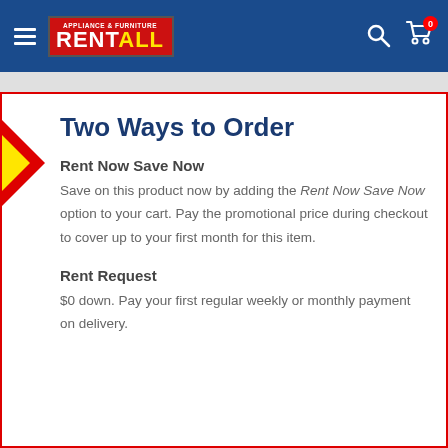[Figure (logo): Appliance & Furniture RENT ALL logo with hamburger menu, search icon, and cart icon with 0 badge on blue header]
Two Ways to Order
Rent Now Save Now
Save on this product now by adding the Rent Now Save Now option to your cart. Pay the promotional price during checkout to cover up to your first month for this item.
Rent Request
$0 down. Pay your first regular weekly or monthly payment on delivery.